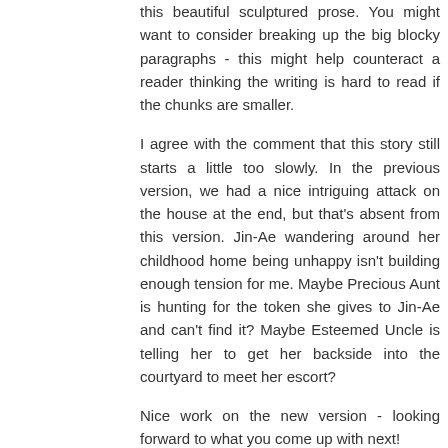this beautiful sculptured prose. You might want to consider breaking up the big blocky paragraphs - this might help counteract a reader thinking the writing is hard to read if the chunks are smaller.
I agree with the comment that this story still starts a little too slowly. In the previous version, we had a nice intriguing attack on the house at the end, but that's absent from this version. Jin-Ae wandering around her childhood home being unhappy isn't building enough tension for me. Maybe Precious Aunt is hunting for the token she gives to Jin-Ae and can't find it? Maybe Esteemed Uncle is telling her to get her backside into the courtyard to meet her escort?
Nice work on the new version - looking forward to what you come up with next!
Reply
Lisa Gail Green December 13, 2012 at 5:23 PM
I agree with the above comment. Never dumb it down for